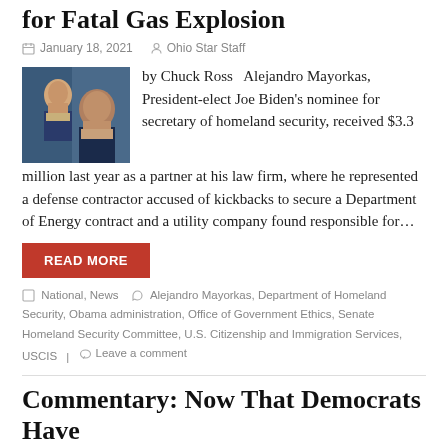for Fatal Gas Explosion
January 18, 2021   Ohio Star Staff
[Figure (photo): Photo of Alejandro Mayorkas, a man in a suit speaking]
by Chuck Ross   Alejandro Mayorkas, President-elect Joe Biden's nominee for secretary of homeland security, received $3.3 million last year as a partner at his law firm, where he represented a defense contractor accused of kickbacks to secure a Department of Energy contract and a utility company found responsible for…
READ MORE
National, News   Alejandro Mayorkas, Department of Homeland Security, Obama administration, Office of Government Ethics, Senate Homeland Security Committee, U.S. Citizenship and Immigration Services, USCIS   Leave a comment
Commentary: Now That Democrats Have Successfully Pulled Off Their Panic in...